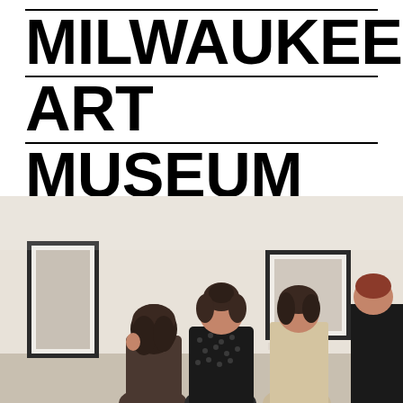MILWAUKEE ART MUSEUM
[Figure (photo): People standing in a museum gallery viewing framed artwork on white walls. Three visitors are seen from behind, one with dark hair in a bun wearing a polka dot top, another with dark wavy hair, and a fourth person in a dark suit partially visible on the right edge.]